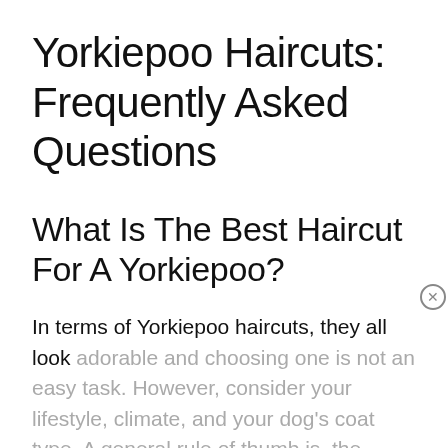Yorkiepoo Haircuts: Frequently Asked Questions
What Is The Best Haircut For A Yorkiepoo?
In terms of Yorkiepoo haircuts, they all look adorable and choosing one is not an easy task. However, consider your lifestyle, climate, and your dog's coat type. A general rule of thumb is, the longer the hair, the higher-